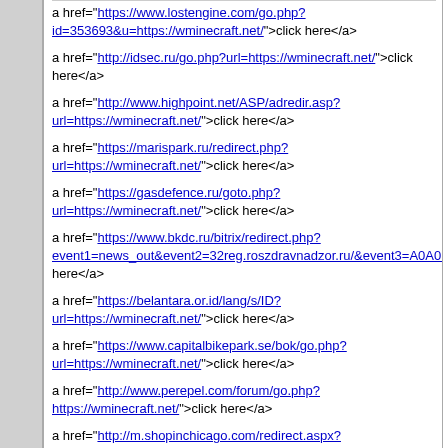a href="https://www.lostengine.com/go.php?id=353693&u=https://wminecraft.net/">click here</a>
a href="http://idsec.ru/go.php?url=https://wminecraft.net/">click here</a>
a href="http://www.highpoint.net/ASP/adredir.asp?url=https://wminecraft.net/">click here</a>
a href="https://marispark.ru/redirect.php?url=https://wminecraft.net/">click here</a>
a href="https://gasdefence.ru/goto.php?url=https://wminecraft.net/">click here</a>
a href="https://www.bkdc.ru/bitrix/redirect.php?event1=news_out&event2=32reg.roszdravnadzor.ru/&event3=A0A0B5A09180D0%A09582A0BBA1A085%D0E2A084D0D1C2D0%A085+A0A0B5A182B0A0%C2D0D0D096+A1A0BBA0B180D0%A09795+A0A0B0A09582A1%D1D0D0D0A182B5+A0A091A08695A0%D1D0A6A185A0A085%D0D1D0D082A1A085%D0D0D1D0A095B1A0%C2D0D0D091&goto=https://wminecraft.net/">click here</a>
a href="https://belantara.or.id/lang/s/ID?url=https://wminecraft.net/">click here</a>
a href="https://www.capitalbikepark.se/bok/go.php?url=https://wminecraft.net/">click here</a>
a href="http://www.perepel.com/forum/go.php?https://wminecraft.net/">click here</a>
a href="http://m.shopinchicago.com/redirect.aspx?